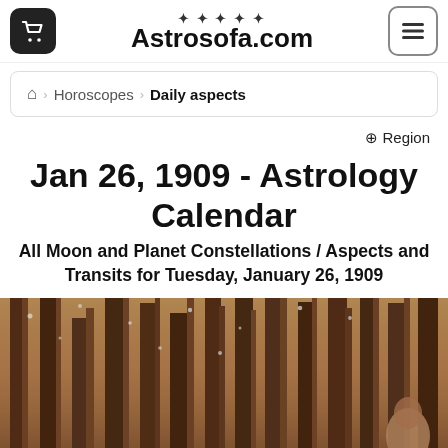Astrosofa.com
⌂ > Horoscopes > Daily aspects
⊕ Region
Jan 26, 1909 - Astrology Calendar
All Moon and Planet Constellations / Aspects and Transits for Tuesday, January 26, 1909
[Figure (photo): Forest/pine trees background with snow, woman visible at bottom right corner]